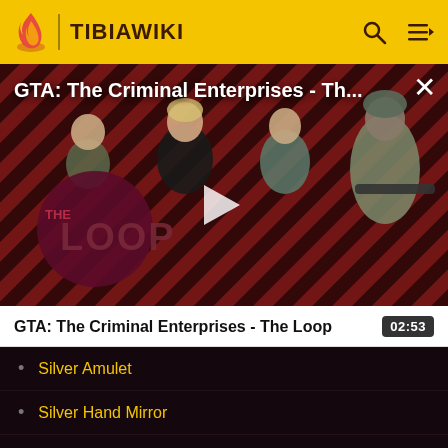TIBIAWIKI
[Figure (screenshot): Video thumbnail for GTA: The Criminal Enterprises - The Loop, showing game characters on a red diagonal stripe background with The Loop logo overlay and a play button in the center]
GTA: The Criminal Enterprises - Th...
GTA: The Criminal Enterprises - The Loop  02:53
Silver Amulet
Silver Hand Mirror
Silver Key
Silver Key (Outpost)